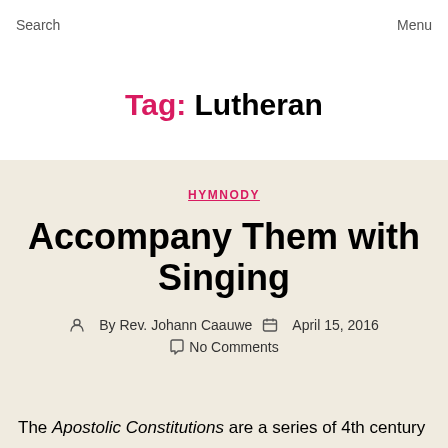Search   Menu
Tag: Lutheran
HYMNODY
Accompany Them with Singing
By Rev. Johann Caauwe   April 15, 2016   No Comments
The Apostolic Constitutions are a series of 4th century